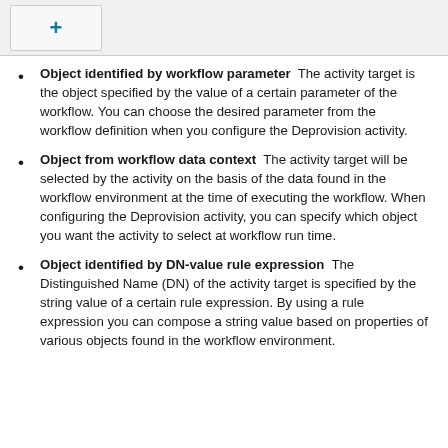+
Object identified by workflow parameter  The activity target is the object specified by the value of a certain parameter of the workflow. You can choose the desired parameter from the workflow definition when you configure the Deprovision activity.
Object from workflow data context  The activity target will be selected by the activity on the basis of the data found in the workflow environment at the time of executing the workflow. When configuring the Deprovision activity, you can specify which object you want the activity to select at workflow run time.
Object identified by DN-value rule expression  The Distinguished Name (DN) of the activity target is specified by the string value of a certain rule expression. By using a rule expression you can compose a string value based on properties of various objects found in the workflow environment.